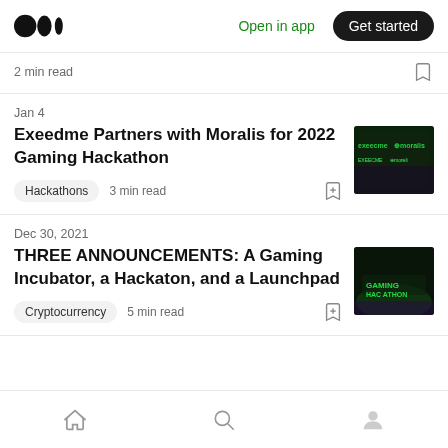Medium logo | Open in app | Get started
2 min read
Jan 4
Exeedme Partners with Moralis for 2022 Gaming Hackathon
Hackathons  3 min read
Dec 30, 2021
THREE ANNOUNCEMENTS: A Gaming Incubator, a Hackaton, and a Launchpad
Cryptocurrency  5 min read
Home | Search | Profile